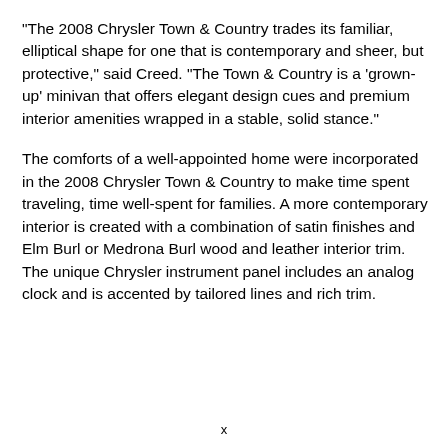"The 2008 Chrysler Town & Country trades its familiar, elliptical shape for one that is contemporary and sheer, but protective," said Creed. "The Town & Country is a 'grown-up' minivan that offers elegant design cues and premium interior amenities wrapped in a stable, solid stance."
The comforts of a well-appointed home were incorporated in the 2008 Chrysler Town & Country to make time spent traveling, time well-spent for families. A more contemporary interior is created with a combination of satin finishes and Elm Burl or Medrona Burl wood and leather interior trim. The unique Chrysler instrument panel includes an analog clock and is accented by tailored lines and rich trim.
x